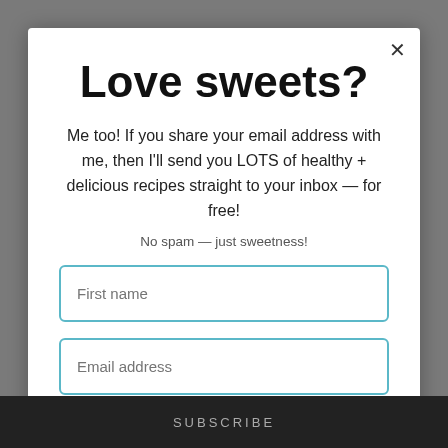Love sweets?
Me too! If you share your email address with me, then I'll send you LOTS of healthy + delicious recipes straight to your inbox — for free!
No spam — just sweetness!
First name
Email address
SUBSCRIBE